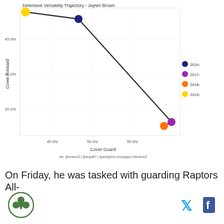[Figure (scatter-plot): Defensive Versatility Trajectory - Jaylen Brown]
On Friday, he was tasked with guarding Raptors All-
[Figure (logo): Circular green logo with shamrock/clover symbol]
[Figure (illustration): Twitter bird icon in blue]
[Figure (illustration): Facebook f icon in dark blue]